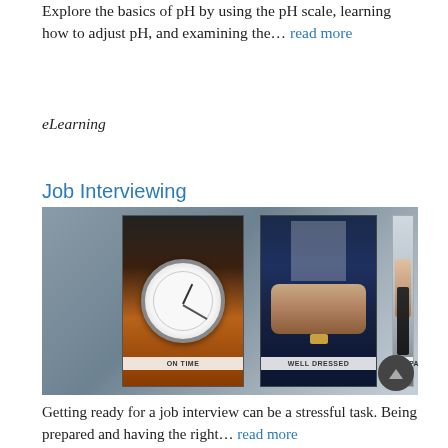Explore the basics of pH by using the pH scale, learning how to adjust pH, and examining the… read more
eLearning
Job Interviewing
[Figure (photo): Three vertically arranged photos: a wristwatch labeled ON TIME, a person in a suit with hands clasped labeled WELL DRESSED, and hands typing on a laptop labeled PREPARED. Composite image for Job Interviewing topic.]
Getting ready for a job interview can be a stressful task. Being prepared and having the right… read more